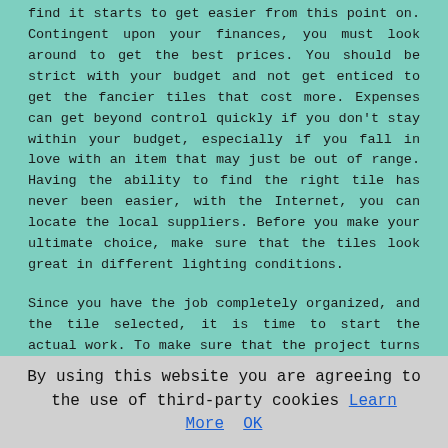find it starts to get easier from this point on. Contingent upon your finances, you must look around to get the best prices. You should be strict with your budget and not get enticed to get the fancier tiles that cost more. Expenses can get beyond control quickly if you don't stay within your budget, especially if you fall in love with an item that may just be out of range. Having the ability to find the right tile has never been easier, with the Internet, you can locate the local suppliers. Before you make your ultimate choice, make sure that the tiles look great in different lighting conditions.
Since you have the job completely organized, and the tile selected, it is time to start the actual work. To make sure that the project turns out well, and remains for a long time, surface area preparation is imperative. Each of the areas to be tiled need to be prepared thoroughly. Regardless of what area you will tile, it needs to be flat, smooth without having rough edges, and it needs to be water proofed or primed. You will want your surface to be very well prepared for your tile work to be successful. This is surely the most important element of doing the job right. This is presumably where many do-it-yourself workers get it wrong, and why their job falls apart.
By using this website you are agreeing to the use of third-party cookies Learn More OK